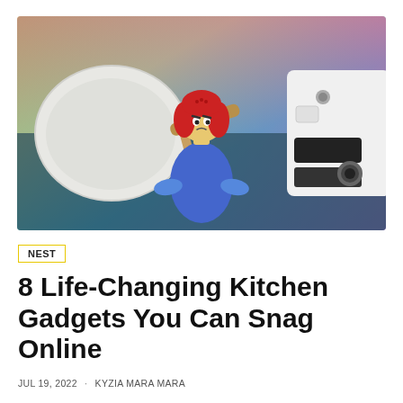[Figure (photo): Hero image showing kitchen gadgets on a colorful gradient background: a white ceramic pan on the left, a red-haired angry mama microwave cleaner figure (blue body) in the center, and a white electronic device (possibly a touchless faucet adapter) on the right.]
NEST
8 Life-Changing Kitchen Gadgets You Can Snag Online
JUL 19, 2022 · KYZIA MARA MARA